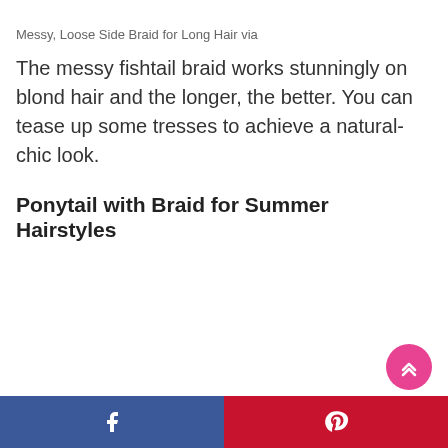Messy, Loose Side Braid for Long Hair via
The messy fishtail braid works stunningly on blond hair and the longer, the better. You can tease up some tresses to achieve a natural-chic look.
Ponytail with Braid for Summer Hairstyles
Facebook | Pinterest